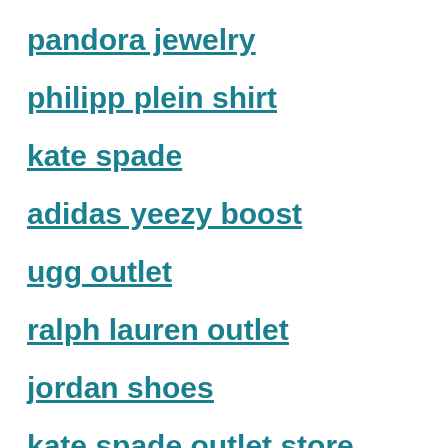pandora jewelry
philipp plein shirt
kate spade
adidas yeezy boost
ugg outlet
ralph lauren outlet
jordan shoes
kate spade outlet store